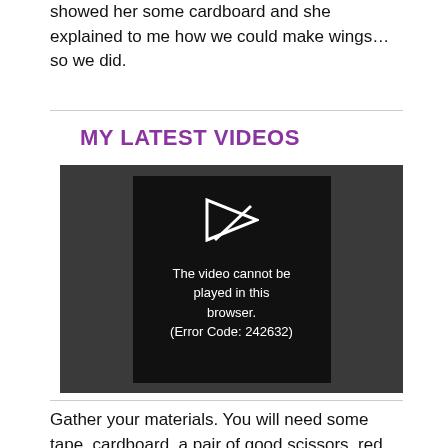showed her some cardboard and she explained to me how we could make wings… so we did.
MY LATEST VIDEOS
[Figure (screenshot): Video player showing error message: The video cannot be played in this browser. (Error Code: 242632)]
Gather your materials. You will need some tape, cardboard, a pair of good scissors, red paint, dark paint ( she chose a purple do a dot paint marker) , a paint brush or two, two rubber bands, and some pipe cleaners. We also used our drop cloth because it was...